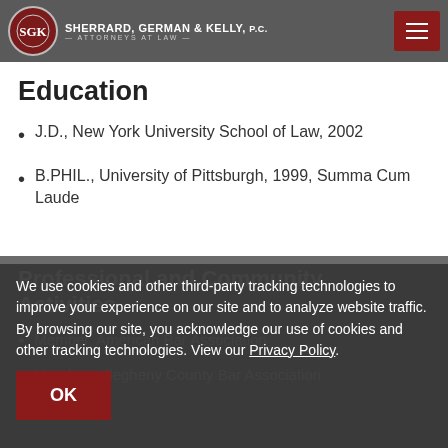Sherrard, German & Kelly, P.C. — Attorneys at Law
Employment Law
Education
J.D., New York University School of Law, 2002
B.PHIL., University of Pittsburgh, 1999, Summa Cum Laude
Professional and Community Activities
Member, American Bar Association
Member, Allegheny County Bar Association
We use cookies and other third-party tracking technologies to improve your experience on our site and to analyze website traffic. By browsing our site, you acknowledge our use of cookies and other tracking technologies. View our Privacy Policy.
OK